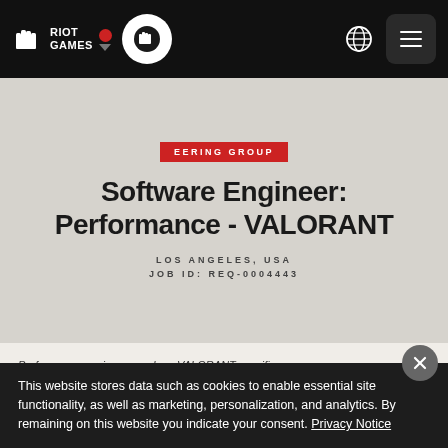Riot Games – Navigation bar with logo, Valorant circle icon, globe, hamburger menu
EERING GROUP
Software Engineer: Performance - VALORANT
LOS ANGELES, USA
JOB ID: REQ-0004443
This website stores data such as cookies to enable essential site functionality, as well as marketing, personalization, and analytics. By remaining on this website you indicate your consent. Privacy Notice